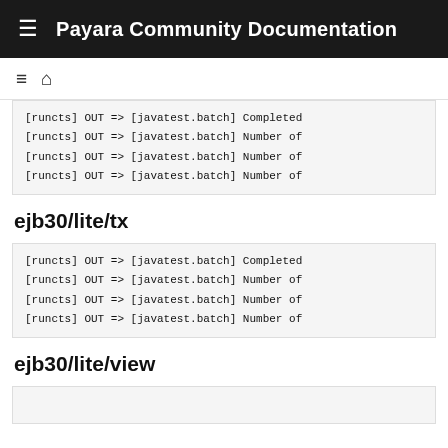Payara Community Documentation
[runcts] OUT => [javatest.batch] Completed
[runcts] OUT => [javatest.batch] Number of
[runcts] OUT => [javatest.batch] Number of
[runcts] OUT => [javatest.batch] Number of
ejb30/lite/tx
[runcts] OUT => [javatest.batch] Completed
[runcts] OUT => [javatest.batch] Number of
[runcts] OUT => [javatest.batch] Number of
[runcts] OUT => [javatest.batch] Number of
ejb30/lite/view